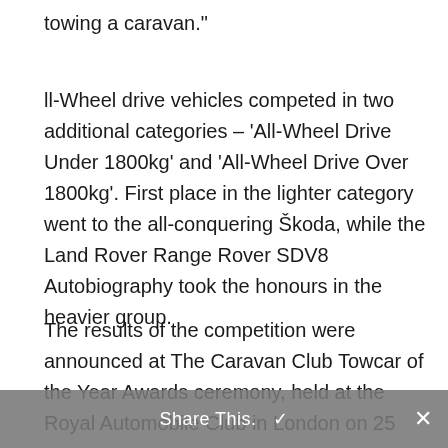towing a caravan."
ll-Wheel drive vehicles competed in two additional categories – 'All-Wheel Drive Under 1800kg' and 'All-Wheel Drive Over 1800kg'. First place in the lighter category went to the all-conquering Škoda, while the Land Rover Range Rover SDV8 Autobiography took the honours in the heavier group.
The results of the competition were announced at The Caravan Club Towcar of the Year Awards ceremony, held at the Royal Automobile Club in London on 25
Share This.  ✓  ×